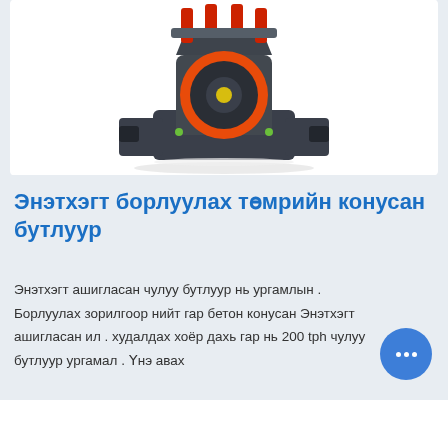[Figure (photo): Industrial cone crusher machine with dark grey/black body, orange circular ring accent, and red hydraulic cylinders on top, shown on white background]
Энэтхэгт борлуулах төмрийн конусан бутлуур
Энэтхэгт ашигласан чулуу бутлуур нь ургамлын . Борлуулах зорилгоор нийт гар бетон конусан Энэтхэгт ашигласан ил . худалдах хоёр дахь гар нь 200 tph чулуу бутлуур ургамал . Үнэ авах